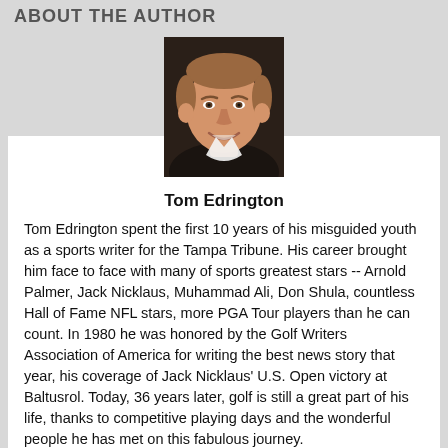ABOUT THE AUTHOR
[Figure (photo): Headshot photo of Tom Edrington, a middle-aged man with light brown hair, smiling, wearing a dark shirt]
Tom Edrington
Tom Edrington spent the first 10 years of his misguided youth as a sports writer for the Tampa Tribune. His career brought him face to face with many of sports greatest stars -- Arnold Palmer, Jack Nicklaus, Muhammad Ali, Don Shula, countless Hall of Fame NFL stars, more PGA Tour players than he can count. In 1980 he was honored by the Golf Writers Association of America for writing the best news story that year, his coverage of Jack Nicklaus' U.S. Open victory at Baltusrol. Today, 36 years later, golf is still a great part of his life, thanks to competitive playing days and the wonderful people he has met on this fabulous journey.
[Figure (logo): RSS feed icon - orange square with white RSS symbol]